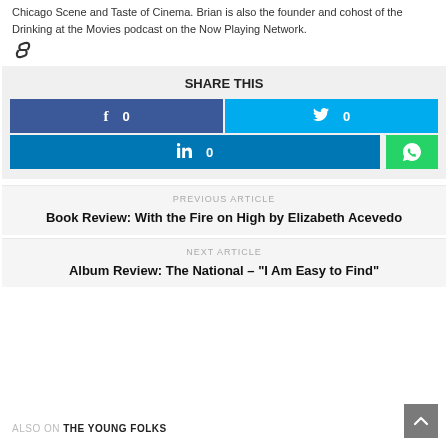Chicago Scene and Taste of Cinema. Brian is also the founder and cohost of the Drinking at the Movies podcast on the Now Playing Network.
[Figure (other): Chain/link icon]
SHARE THIS
[Figure (infographic): Share buttons: Facebook (0), Twitter (0), LinkedIn (0), WhatsApp]
PREVIOUS ARTICLE
Book Review: With the Fire on High by Elizabeth Acevedo
NEXT ARTICLE
Album Review: The National – "I Am Easy to Find"
ALSO ON THE YOUNG FOLKS